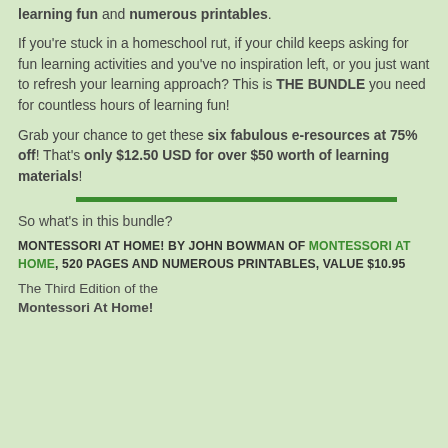learning fun and numerous printables.
If you're stuck in a homeschool rut, if your child keeps asking for fun learning activities and you've no inspiration left, or you just want to refresh your learning approach? This is THE BUNDLE you need for countless hours of learning fun!
Grab your chance to get these six fabulous e-resources at 75% off! That's only $12.50 USD for over $50 worth of learning materials!
So what's in this bundle?
MONTESSORI AT HOME! BY JOHN BOWMAN OF MONTESSORI AT HOME, 520 PAGES AND NUMEROUS PRINTABLES, VALUE $10.95
The Third Edition of the Montessori At Home!